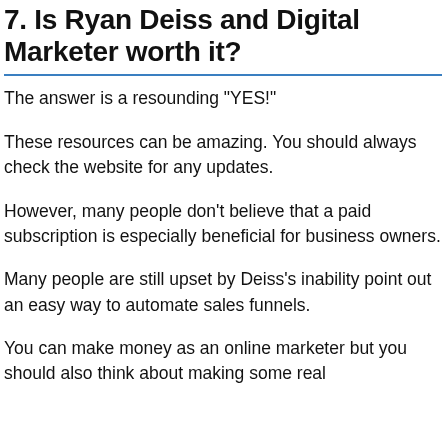7. Is Ryan Deiss and Digital Marketer worth it?
The answer is a resounding "YES!"
These resources can be amazing. You should always check the website for any updates.
However, many people don't believe that a paid subscription is especially beneficial for business owners.
Many people are still upset by Deiss's inability point out an easy way to automate sales funnels.
You can make money as an online marketer but you should also think about making some real